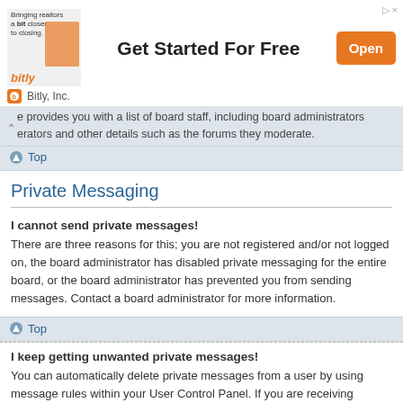[Figure (other): Advertisement banner for Bitly Inc. with text 'Bringing realtors a bit closer to closing.' and 'Get Started For Free' button and 'Open' CTA button in orange.]
e provides you with a list of board staff, including board administrators erators and other details such as the forums they moderate.
Top
Private Messaging
I cannot send private messages!
There are three reasons for this; you are not registered and/or not logged on, the board administrator has disabled private messaging for the entire board, or the board administrator has prevented you from sending messages. Contact a board administrator for more information.
Top
I keep getting unwanted private messages!
You can automatically delete private messages from a user by using message rules within your User Control Panel. If you are receiving abusive private messages from a particular user, report the messages to the moderators; they have the power to prevent a user from sending private messages.